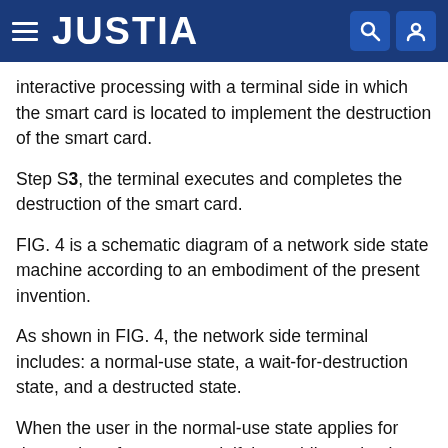JUSTIA
interactive processing with a terminal side in which the smart card is located to implement the destruction of the smart card.
Step S3, the terminal executes and completes the destruction of the smart card.
FIG. 4 is a schematic diagram of a network side state machine according to an embodiment of the present invention.
As shown in FIG. 4, the network side terminal includes: a normal-use state, a wait-for-destruction state, and a destructed state.
When the user in the normal-use state applies for destruction of a smart card, if the mobile station in which the smart card is located is in a normal power-on